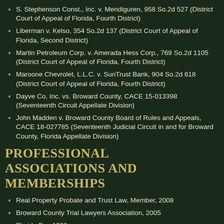S. Stephenson Const., Inc. v. Mendiguren, 958 So.2d 527 (District Court of Appeal of Florida, Fourth District)
Liberman v. Kelso, 354 So.2d 137 (District Court of Appeal of Florida, Second District)
Martin Petroleum Corp. v. Amerada Hess Corp., 769 So.2d 1105  (District Court of Appeal of Florida, Fourth District)
Maroone Chevrolet, L.L.C. v. SunTrust Bank, 904 So.2d 618 (District Court of Appeal of Florida, Fourth District)
Dayve Co, Inc. vs. Broward County, CACE 15-013398 (Seventeenth Circuit Appellate Division)
John Madden v. Broward County Board of Rules and Appeals, CACE 18-027785 (Seventeenth Judicial Circuit in and for Broward County, Florida Appellate Division)
PROFESSIONAL ASSOCIATIONS AND MEMBERSHIPS
Real Property Probate and Trust Law, Member, 2008
Broward County Trial Lawyers Association, 2005
Florida Bar, 1998
American Society of Safety Engineers, Member, 1994